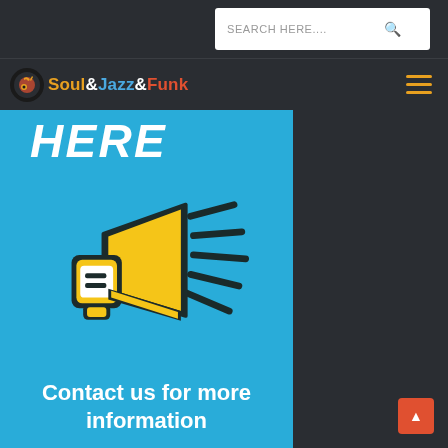SEARCH HERE....
[Figure (logo): Soul&Jazz&Funk website logo with music note icon]
[Figure (illustration): Blue banner with megaphone/bullhorn illustration, text 'HERE' at top and 'Contact us for more information' at bottom on cyan/blue background]